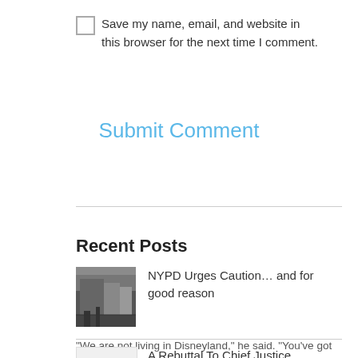Save my name, email, and website in this browser for the next time I comment.
Submit Comment
Recent Posts
[Figure (photo): Black and white street photo thumbnail]
NYPD Urges Caution… and for good reason
“We are not living in Disneyland,” he said. “You’ve got to be proactive. Take the necessary precaution. Things are not as good as they were before.” “I feel like …Read More »
A Rebuttal To Chief Justice O’Connor
Why is it important for the defendant to